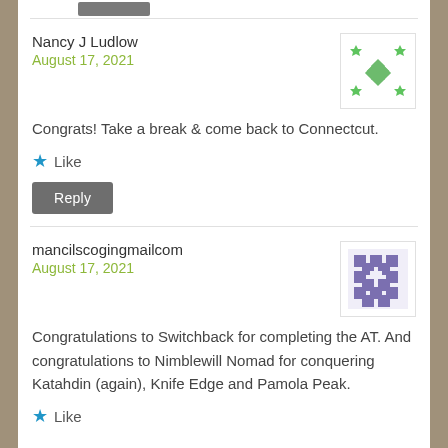Nancy J Ludlow
August 17, 2021
[Figure (illustration): Green geometric avatar with diamond and star/plus shapes on white background]
Congrats! Take a break & come back to Connectcut.
Like
Reply
mancilscogingmailcom
August 17, 2021
[Figure (illustration): Purple/lavender geometric checkerboard avatar pattern on white background]
Congratulations to Switchback for completing the AT. And congratulations to Nimblewill Nomad for conquering Katahdin (again), Knife Edge and Pamola Peak.
Like